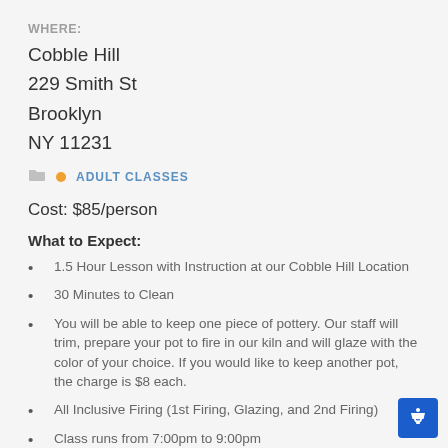WHERE:
Cobble Hill
229 Smith St
Brooklyn
NY 11231
ADULT CLASSES
Cost: $85/person
What to Expect:
1.5 Hour Lesson with Instruction at our Cobble Hill Location
30 Minutes to Clean
You will be able to keep one piece of pottery. Our staff will trim, prepare your pot to fire in our kiln and will glaze with the color of your choice. If you would like to keep another pot, the charge is $8 each.
All Inclusive Firing (1st Firing, Glazing, and 2nd Firing)
Class runs from 7:00pm to 9:00pm
Wear clothes that can get a little muddy and there is no need